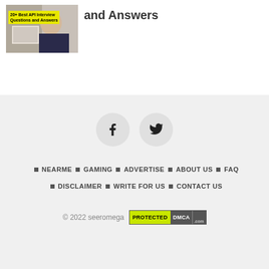[Figure (photo): Thumbnail image of a person at a computer with yellow label overlay reading '20+ Best API Interview Questions and Answers']
and Answers
[Figure (other): Social media icons: Facebook (f) and Twitter (bird) in circular buttons]
NEARME · GAMING · ADVERTISE · ABOUT US · FAQ · DISCLAIMER · WRITE FOR US · CONTACT US
© 2022 seeromega PROTECTED DMCA .com